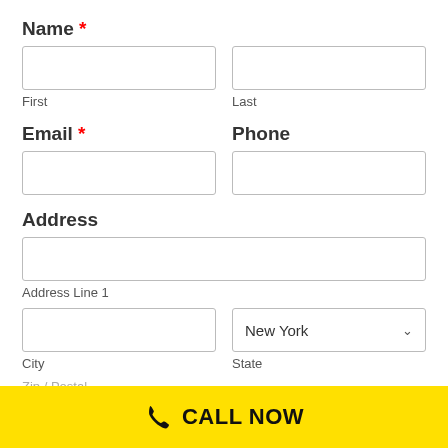Name *
First
Last
Email * | Phone
Address
Address Line 1
City
State: New York
CALL NOW